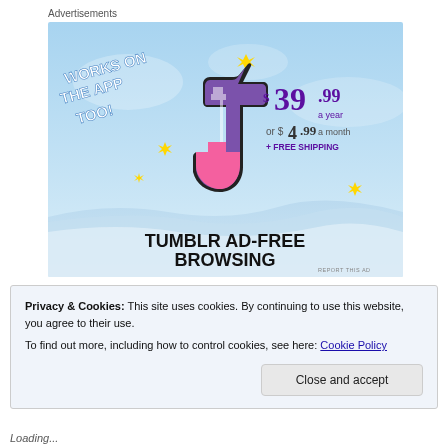Advertisements
[Figure (screenshot): Tumblr Ad-Free Browsing advertisement. Sky blue background with the Tumblr logo (stylized 't' in pink/purple with white). Text: 'WORKS ON THE APP TOO!' in white on the left. Price: '$39.99 a year' in large purple text, 'or $4.99 a month' below, '+ FREE SHIPPING' in purple. Bottom section with wave graphic reads 'TUMBLR AD-FREE BROWSING' in large bold black text. Yellow sparkle stars scattered around logo.]
Privacy & Cookies: This site uses cookies. By continuing to use this website, you agree to their use.
To find out more, including how to control cookies, see here: Cookie Policy
Close and accept
Loading...